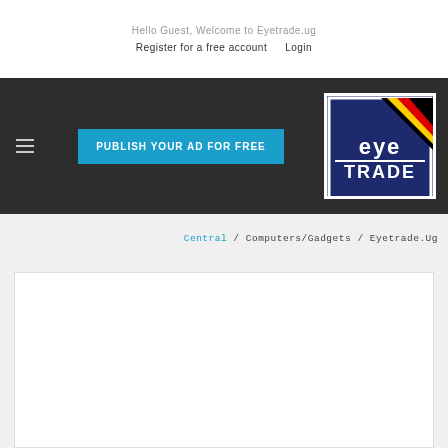Hello Guest, Welcome to Eyetrade.ug
Register for a free account   Login
[Figure (screenshot): Dark navigation bar with hamburger menu, 'PUBLISH YOUR AD FOR FREE' blue button, and Eyetrade.ug logo on the right]
Central / Computers/Gadgets / Eyetrade.Ug